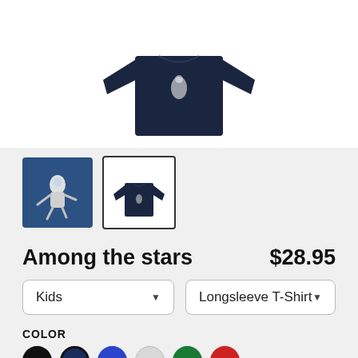[Figure (photo): Product image of a navy blue kids longsleeve t-shirt with astronaut graphic, shown on white background]
[Figure (photo): Two thumbnails: left is an astronaut graphic on blue background, right is navy longsleeve shirt on white background with black border]
Among the stars
$28.95
Kids
Longsleeve T-Shirt
COLOR
Color swatches: black, navy, blue, light gray, green, red
S  M  L  XL